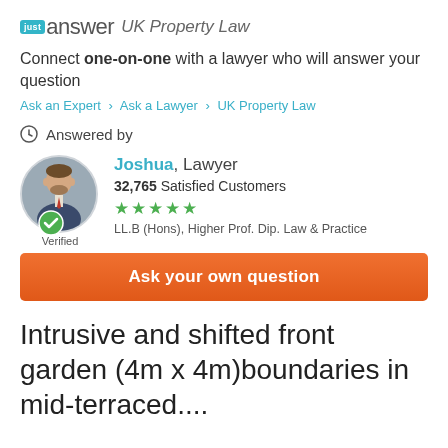just answer UK Property Law
Connect one-on-one with a lawyer who will answer your question
Ask an Expert > Ask a Lawyer > UK Property Law
Answered by
[Figure (photo): Profile photo of Joshua, a lawyer, with a green verified checkmark badge. Shows 32,765 Satisfied Customers, 5 green stars, and credentials LL.B (Hons), Higher Prof. Dip. Law & Practice. Marked as Verified.]
Ask your own question
Intrusive and shifted front garden (4m x 4m)boundaries in mid-terraced....